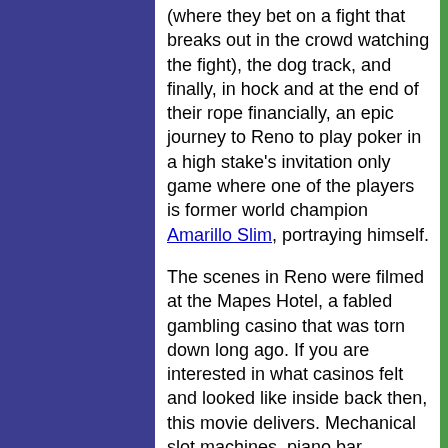(where they bet on a fight that breaks out in the crowd watching the fight), the dog track, and finally, in hock and at the end of their rope financially, an epic journey to Reno to play poker in a high stake's invitation only game where one of the players is former world champion Amarillo Slim, portraying himself.
The scenes in Reno were filmed at the Mapes Hotel, a fabled gambling casino that was torn down long ago. If you are interested in what casinos felt and looked like inside back then, this movie delivers. Mechanical slot machines, piano bar singers, bored blackjack dealers, smoke everywhere, it's all there.  Now we can enjoy gambling at home at a place like PowerPlay Casino. Altman said in an interview,